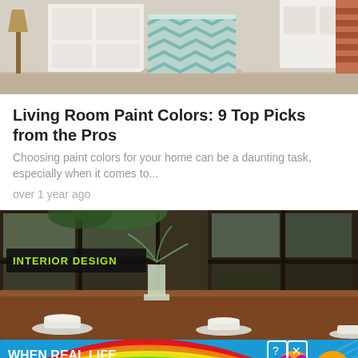[Figure (photo): Partial view of a living room with a chevron-patterned chair and white cabinetry]
Living Room Paint Colors: 9 Top Picks from the Pros
Choosing paint colors for your home can be a daunting task, especially when it comes to...
over 1 year ago
[Figure (photo): Interior design photo of a dining room with a wooden table set with cups and a glass vase, large industrial windows in the background, with an INTERIOR DESIGN badge overlay]
[Figure (infographic): BitLife advertisement banner with rainbow background, text WHEN REAL LIFE IS QUARANTINED, BitLife logo, and emoji characters with close/question buttons]